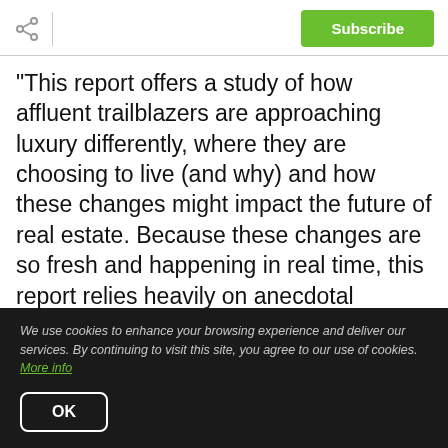Subscribe
"This report offers a study of how affluent trailblazers are approaching luxury differently, where they are choosing to live (and why) and how these changes might impact the future of real estate. Because these changes are so fresh and happening in real time, this report relies heavily on anecdotal evidence with supporting data provided by WealthEngine, Wealth-X. The Institute for Luxury Home Marketing and
We use cookies to enhance your browsing experience and deliver our services. By continuing to visit this site, you agree to our use of cookies. More info
OK